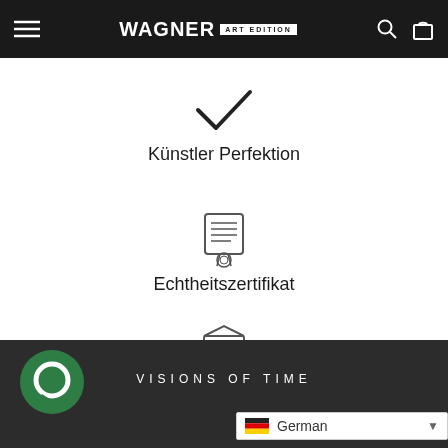WAGNER ART EDITION
[Figure (illustration): Checkmark icon (tick/check) in dark outline style]
Künstler Perfektion
[Figure (illustration): Certificate/scroll with ribbon icon in outline style]
Echtheitszertifikat
[Figure (illustration): Package/box with shield icon in outline style]
Sichere Verpackung
[Figure (logo): Green circular chat bubble logo]
VISIONS OF TIME
German